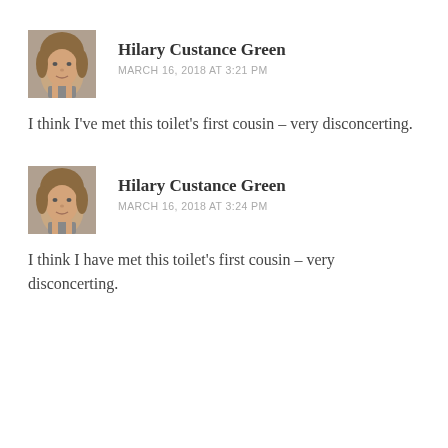[Figure (photo): Avatar photo of Hilary Custance Green, a woman with medium-length brown hair]
Hilary Custance Green
MARCH 16, 2018 AT 3:21 PM
I think I've met this toilet's first cousin – very disconcerting.
[Figure (photo): Avatar photo of Hilary Custance Green, a woman with medium-length brown hair]
Hilary Custance Green
MARCH 16, 2018 AT 3:24 PM
I think I have met this toilet's first cousin – very disconcerting.